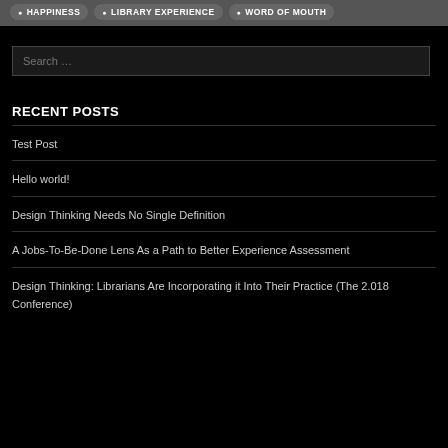HAPPINESS • LIBRARY EXPERIENCE • WORD OF MOUTH
Search …
RECENT POSTS
Test Post
Hello world!
Design Thinking Needs No Single Definition
A Jobs-To-Be-Done Lens As a Path to Better Experience Assessment
Design Thinking: Librarians Are Incorporating it Into Their Practice (The 2.018 Conference)